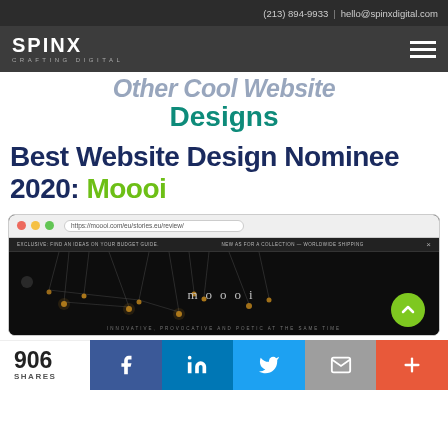(213) 894-9933 | hello@spinxdigital.com
[Figure (logo): SPINX Digital logo with CRAFTING DIGITAL tagline and hamburger menu on dark background]
Other Cool Website Designs
Best Website Design Nominee 2020: Moooi
[Figure (screenshot): Browser screenshot of Moooi website showing dark background with hanging lights and Moooi logo text]
906 SHARES